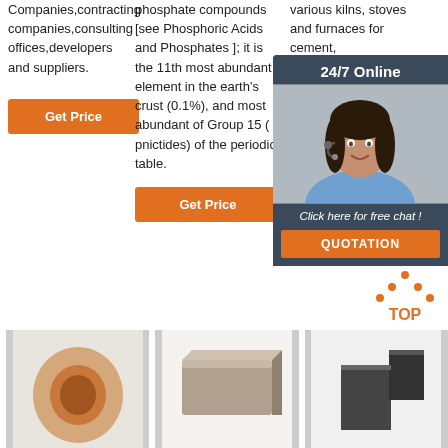Companies,contracting companies,consulting offices,developers and suppliers.
phosphate compounds [see Phosphoric Acids and Phosphates ]; it is the 11th most abundant element in the earth's crust (0.1%), and most abundant of Group 15 (pnictides) of the periodic table.
various kilns, stoves and furnaces for cement, metallurgical and petrochemical industries, various kind of refractory, bauxite as main raw...
[Figure (screenshot): 24/7 Online chat popup with customer service representative image, and QUOTATION button]
[Figure (photo): Cylindrical refractory tube/roll product]
[Figure (photo): Rectangular refractory brick product]
[Figure (photo): Dark refractory block products]
[Figure (logo): TOP icon with orange dots forming triangle and TOP text]